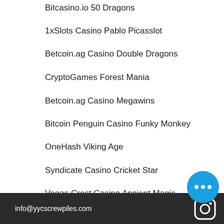Bitcasino.io 50 Dragons
1xSlots Casino Pablo Picasslot
Betcoin.ag Casino Double Dragons
CryptoGames Forest Mania
Betcoin.ag Casino Megawins
Bitcoin Penguin Casino Funky Monkey
OneHash Viking Age
Syndicate Casino Cricket Star
Vegas Crest Casino Ancient Magic
https://www.onebststores.com/profile/ginaferrall14844314/profile
https://www.nataliasimon.com/profile/shirelybionda2223222/profile
https://www.beit-yerach.com/profile/thomasinelarouche18897964/profile
https://www.artoffitness365.com/profile/tamarwinburn15595059/profile
info@yycscrewpiles.com